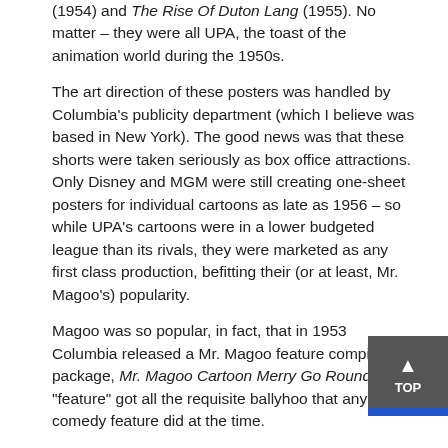(1954) and The Rise Of Duton Lang (1955). No matter – they were all UPA, the toast of the animation world during the 1950s.
The art direction of these posters was handled by Columbia's publicity department (which I believe was based in New York). The good news was that these shorts were taken seriously as box office attractions. Only Disney and MGM were still creating one-sheet posters for individual cartoons as late as 1956 – so while UPA's cartoons were in a lower budgeted league than its rivals, they were marketed as any first class production, befitting their (or at least, Mr. Magoo's) popularity.
Magoo was so popular, in fact, that in 1953 Columbia released a Mr. Magoo feature compilation package, Mr. Magoo Cartoon Merry Go Round. This "feature" got all the requisite ballyhoo that any other comedy feature did at the time.
The UPA posters continued right on to the final Columbia releases in 1959 – the two-in-one Ham and Hattie shorts (at right) and the 1001 Arabian Nights Mr. Magoo feature.